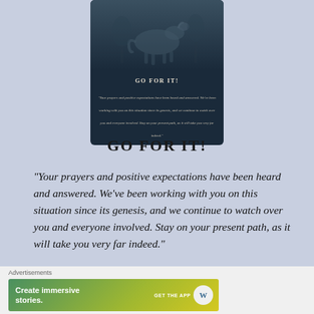[Figure (illustration): A dark navy card with a horse illustration at top, title GO FOR IT! and an italic quote about prayers and positive expectations]
GO FOR IT!
"Your prayers and positive expectations have been heard and answered. We've been working with you on this situation since its genesis, and we continue to watch over you and everyone involved. Stay on your present path, as it will take you very far indeed."
Advertisements
[Figure (other): WordPress advertisement banner: Create immersive stories. GET THE APP with WordPress logo]